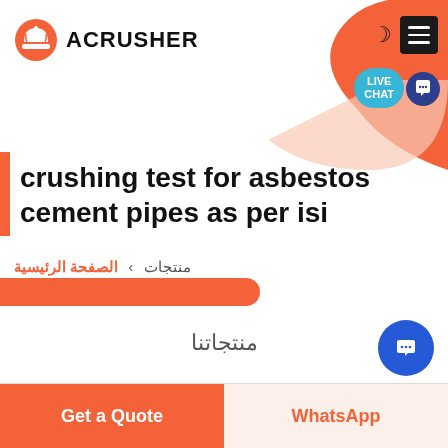[Figure (logo): Acrusher company logo with orange hard-hat icon and bold ACRUSHER text]
crushing test for asbestos cement pipes as per isi
منتجات  >  الصفحة الرئيسية
منتجاتنا
Get a Quote
WhatsApp